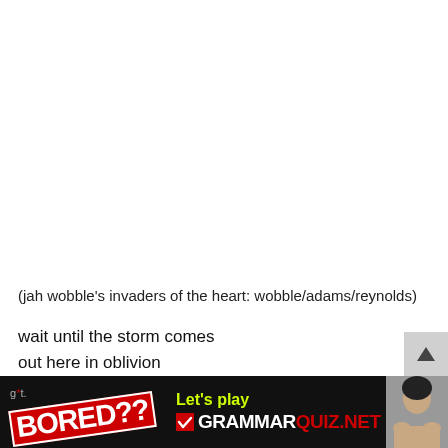(jah wobble's invaders of the heart: wobble/adams/reynolds)
wait until the storm comes
out here in oblivion
wait until the storm comes
wait it ... olution
[Figure (infographic): Advertisement banner: 'g*t. BORED??' on left with red stamp effect, center shows 'Let’s play ✓ GRAMMARQUIZ.NET' in yellow and red/white text, right shows a photo of a person resting chin on hands]